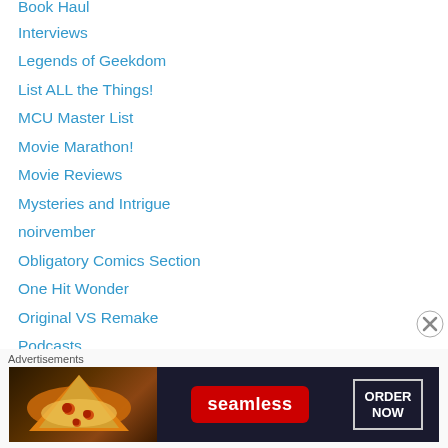Book Haul
Interviews
Legends of Geekdom
List ALL the Things!
MCU Master List
Movie Marathon!
Movie Reviews
Mysteries and Intrigue
noirvember
Obligatory Comics Section
One Hit Wonder
Original VS Remake
Podcasts
Prophecies
Quick Bites of Geekness
Random Geekness
Retrogeek
Advertisements
[Figure (other): Seamless food delivery advertisement banner with pizza image, Seamless logo, and ORDER NOW button]